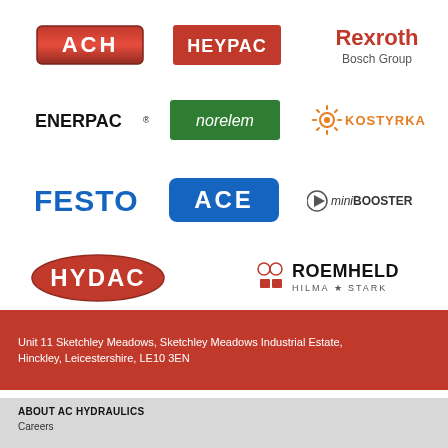[Figure (logo): ACH logo — red metallic badge with white lettering ACH]
[Figure (logo): HEYPAC logo — red rectangle with white text HEYPAC]
[Figure (logo): Rexroth Bosch Group logo — red Rexroth text with grey Bosch Group below]
[Figure (logo): ENERPAC logo — bold black text with registered trademark symbol]
[Figure (logo): norelem logo — white text on green rectangle]
[Figure (logo): KOSTYRKA logo — orange sun/gear icon with orange text]
[Figure (logo): FESTO logo — bold blue text]
[Figure (logo): ACE logo — white text on blue rounded rectangle]
[Figure (logo): miniBOOSTER logo — play button icon with miniBOOSTER text]
[Figure (logo): HYDAC logo — red oval with white bold text HYDAC]
[Figure (logo): ROEMHELD HILMA STARK logo — magenta icons with bold black text]
Unit 11 Sketchley Meadows, Sketchley Meadows Industrial Estate, Hinckley, Leicestershire, LE10 3EN
ABOUT AC HYDRAULICS
Careers